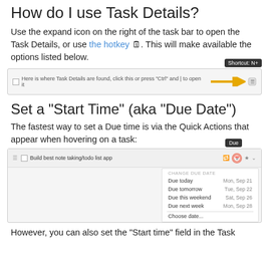How do I use Task Details?
Use the expand icon on the right of the task bar to open the Task Details, or use the hotkey 🗓. This will make available the options listed below.
[Figure (screenshot): Screenshot of a task bar with a tooltip showing 'Shortcut: N+' and an orange arrow pointing to an icon on the right side. Text reads: 'Here is where Task Details are found, click this or press Ctrl and | to open it'.]
Set a "Start Time" (aka "Due Date")
The fastest way to set a Due time is via the Quick Actions that appear when hovering on a task:
[Figure (screenshot): Screenshot of a task item 'Build best note taking/todo list app' with a 'Due' tooltip visible, and a dropdown showing: CHANGE DUE DATE options: Due today (Mon, Sep 21), Due tomorrow (Tue, Sep 22), Due this weekend (Sat, Sep 26), Due next week (Mon, Sep 28), Choose date...]
However, you can also set the "Start time" field in the Task